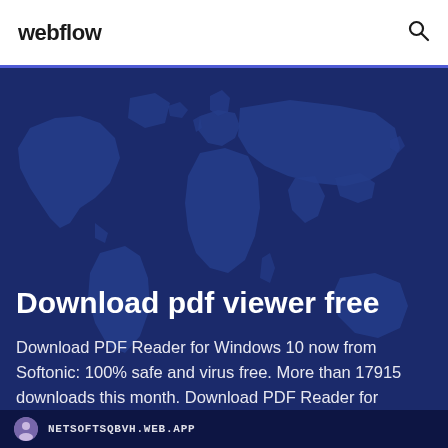webflow
[Figure (illustration): World map silhouette on dark blue background serving as hero section backdrop]
Download pdf viewer free
Download PDF Reader for Windows 10 now from Softonic: 100% safe and virus free. More than 17915 downloads this month. Download PDF Reader for
NETSOFTSQBVH.WEB.APP